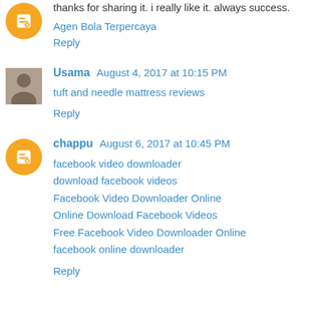thanks for sharing it. i really like it. always success.
Agen Bola Terpercaya
Reply
Usama  August 4, 2017 at 10:15 PM
tuft and needle mattress reviews
Reply
chappu  August 6, 2017 at 10:45 PM
facebook video downloader
download facebook videos
Facebook Video Downloader Online
Online Download Facebook Videos
Free Facebook Video Downloader Online
facebook online downloader
Reply